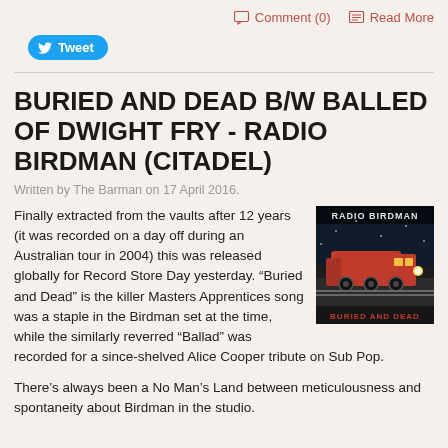Comment (0)   Read More
[Figure (other): Tweet button (Twitter/X share button in blue rounded pill shape)]
BURIED AND DEAD B/W BALLED OF DWIGHT FRY - RADIO BIRDMAN (CITADEL)
Written by The Barman on 17 April 2016.
[Figure (photo): Radio Birdman album cover - 'Buried and Dead' showing a red locomotive train at night with the band name 'RADIO BIRDMAN' at top and 'BURIED AND DEAD' at bottom in red text]
Finally extracted from the vaults after 12 years (it was recorded on a day off during an Australian tour in 2004) this was released globally for Record Store Day yesterday. “Buried and Dead” is the killer Masters Apprentices song was a staple in the Birdman set at the time, while the similarly reverred “Ballad” was recorded for a since-shelved Alice Cooper tribute on Sub Pop.
There’s always been a No Man’s Land between meticulousness and spontaneity about Birdman in the studio.